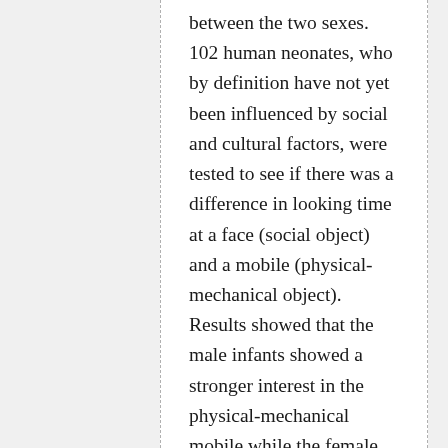between the two sexes. 102 human neonates, who by definition have not yet been influenced by social and cultural factors, were tested to see if there was a difference in looking time at a face (social object) and a mobile (physical-mechanical object). Results showed that the male infants showed a stronger interest in the physical-mechanical mobile while the female infants showed a stronger interest in the face. The results of this research clearly demonstrate that sex differences are in part biological in origin.